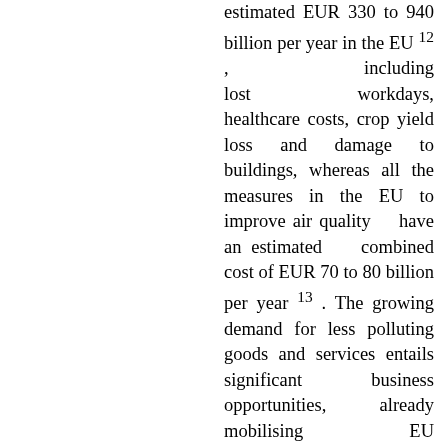estimated EUR 330 to 940 billion per year in the EU 12 , including lost workdays, healthcare costs, crop yield loss and damage to buildings, whereas all the measures in the EU to improve air quality have an estimated combined cost of EUR 70 to 80 billion per year 13 . The growing demand for less polluting goods and services entails significant business opportunities, already mobilising EU companies towards innovative solutions. The recovery efforts can support this trend. Acting on pollution now also means inter-